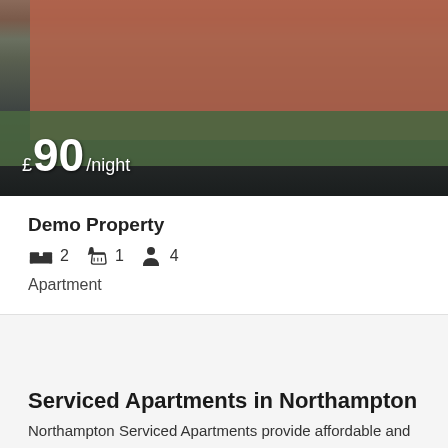[Figure (photo): Exterior photo of a brick serviced apartment building with green lawn and hedges. Price overlay shows £90/night in white text at bottom left.]
Demo Property
2 bedrooms, 1 bathroom, 4 guests. Apartment
Serviced Apartments in Northampton
Northampton Serviced Apartments provide affordable and comfortable fully furnished serviced accommodation to leisure and business travellers visiting in and around Northampton area, on short-and long term basis.
All our apartments come with fully equipped kitchens for